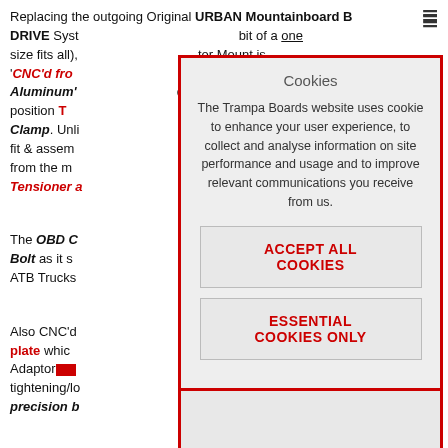Replacing the outgoing Original URBAN Mountainboard BELT DRIVE System... bit of a one size fits all)... tor Mount is 'CNC'd from... Treated T6 Aluminum'... de on into position... tor Mount Clamp. Unlike... very easy to fit & assemble... on & Torque from the m... wide Belt Tensioner a...
[Figure (screenshot): Cookie consent modal dialog with red border overlaying the page content. Contains title 'Cookies', descriptive text about cookie usage, and two buttons: 'ACCEPT ALL COOKIES' and 'ESSENTIAL COOKIES ONLY'.]
The OBD C... Cap Head Bolt as it s... made CNC ATB Trucks...
Also CNC'd... or Adaptor plate which... The Motor Adaptor... easily by tightening/lo... lt, allowing precision b...
The OPEN D... 56 tooth for 8 inch whe... h has been designed to fit different wheel sizes with different pulleys, which